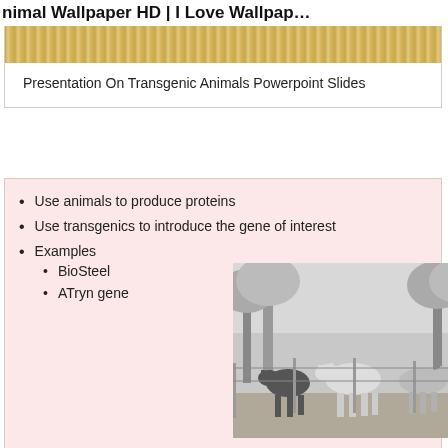Animal Wallpaper HD | I Love Wallpap…
[Figure (screenshot): Gold striped banner from a PowerPoint slide thumbnail]
Presentation On Transgenic Animals Powerpoint Slides
Use animals to produce proteins
Use transgenics to introduce the gene of interest
Examples
BioSteel
ATryn gene
[Figure (photo): Black and white photograph of a group of goats standing outdoors under trees]
Animal Biotechnology Ppt Download
Silky Bones